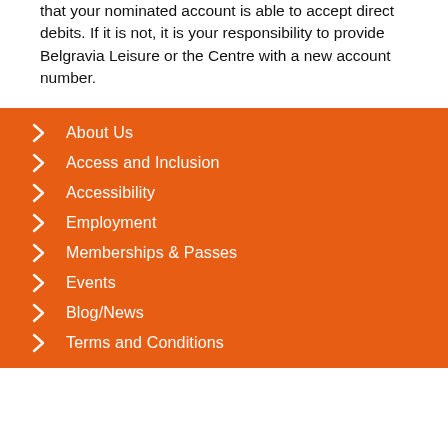that your nominated account is able to accept direct debits. If it is not, it is your responsibility to provide Belgravia Leisure or the Centre with a new account number.
About Us
Access and Inclusion
Accessibility
Employment
Memberships & Passes
Events
Blog/News
Terms and Conditions